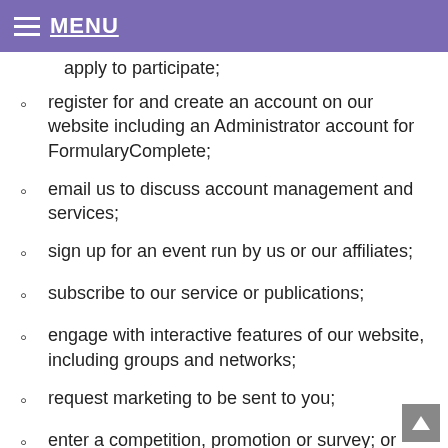MENU
apply to participate; (partial/truncated at top)
register for and create an account on our website including an Administrator account for FormularyComplete;
email us to discuss account management and services;
sign up for an event run by us or our affiliates;
subscribe to our service or publications;
engage with interactive features of our website, including groups and networks;
request marketing to be sent to you;
enter a competition, promotion or survey; or
give us some feedback
report a problem with our site including sending emails via the Zendesk support (partial/truncated at bottom)